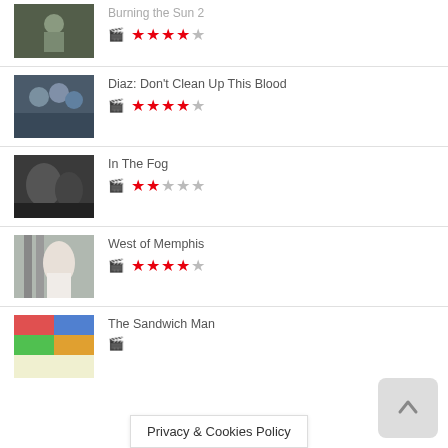Burning the Sun 2 — 4 out of 5 stars
Diaz: Don't Clean Up This Blood — 4 out of 5 stars
In The Fog — 2 out of 5 stars
West of Memphis — 4 out of 5 stars
The Sandwich Man — (stars partially visible)
Privacy & Cookies Policy